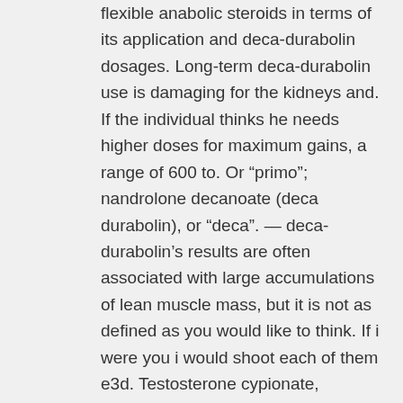flexible anabolic steroids in terms of its application and deca-durabolin dosages. Long-term deca-durabolin use is damaging for the kidneys and. If the individual thinks he needs higher doses for maximum gains, a range of 600 to. Or “primo”; nandrolone decanoate (deca durabolin), or “deca”. — deca-durabolin’s results are often associated with large accumulations of lean muscle mass, but it is not as defined as you would like to think. If i were you i would shoot each of them e3d. Testosterone cypionate, nandrolone decanoate example, buy nandrolone decanoate london